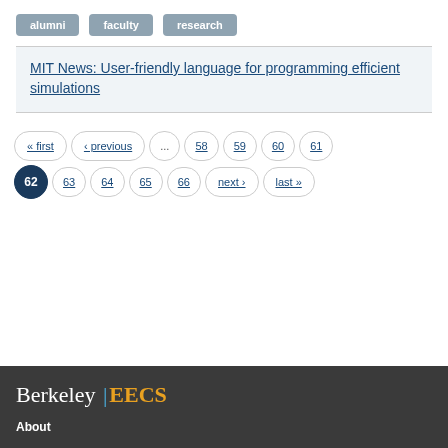alumni
faculty
research
MIT News: User-friendly language for programming efficient simulations
« first ‹ previous ... 58 59 60 61 62 63 64 65 66 next › last »
Berkeley | EECS
About